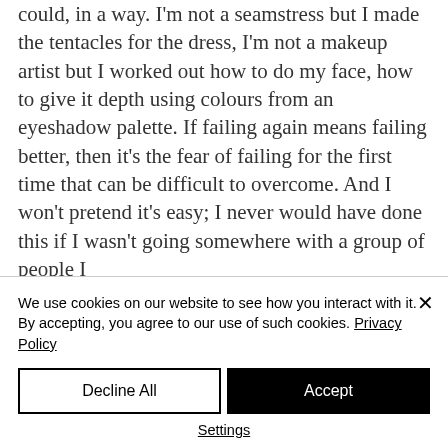could, in a way. I'm not a seamstress but I made the tentacles for the dress, I'm not a makeup artist but I worked out how to do my face, how to give it depth using colours from an eyeshadow palette. If failing again means failing better, then it's the fear of failing for the first time that can be difficult to overcome. And I won't pretend it's easy; I never would have done this if I wasn't going somewhere with a group of people I
We use cookies on our website to see how you interact with it. By accepting, you agree to our use of such cookies. Privacy Policy
Decline All
Accept
Settings